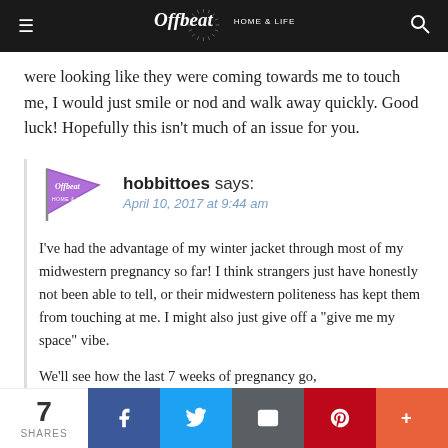Offbeat Home & Life — navigation bar
were looking like they were coming towards me to touch me, I would just smile or nod and walk away quickly. Good luck! Hopefully this isn't much of an issue for you.
hobbittoes says: April 10, 2017 at 9:44 am
I've had the advantage of my winter jacket through most of my midwestern pregnancy so far! I think strangers just have honestly not been able to tell, or their midwestern politeness has kept them from touching at me. I might also just give off a "give me my space" vibe.

We'll see how the last 7 weeks of pregnancy go,
7 SHARES — Facebook, Twitter, Email, Pinterest, More